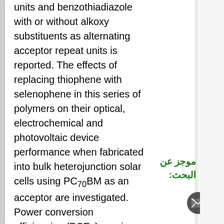units and benzothiadiazole with or without alkoxy substituents as alternating acceptor repeat units is reported. The effects of replacing thiophene with selenophene in this series of polymers on their optical, electrochemical and photovoltaic device performance when fabricated into bulk heterojunction solar cells using PC70BM as an acceptor are investigated. Power conversion efficiencies (PCEs) ranging from 3.34 to 5.41% are obtained with
موجز عن البحث: